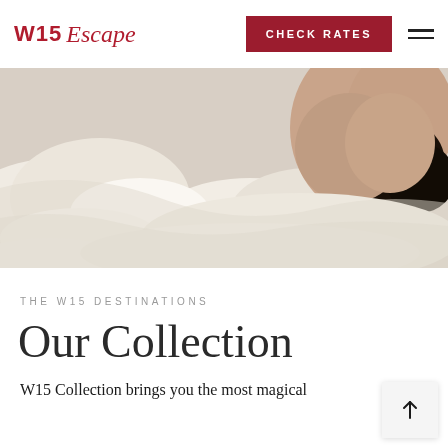W15 Escape | CHECK RATES
[Figure (photo): Woman lying in white bedding, dark hair, warm tones — hotel/accommodation lifestyle photo]
THE W15 DESTINATIONS
Our Collection
W15 Collection brings you the most magical